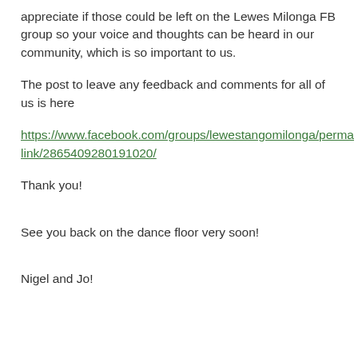appreciate if those could be left on the Lewes Milonga FB group so your voice and thoughts can be heard in our community, which is so important to us.
The post to leave any feedback and comments for all of us is here
https://www.facebook.com/groups/lewestangomilonga/permalink/2865409280191020/
Thank you!
See you back on the dance floor very soon!
Nigel and Jo!